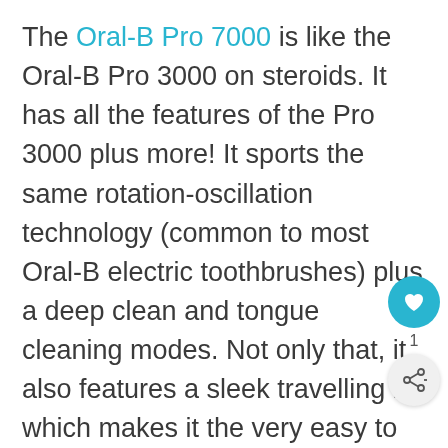The Oral-B Pro 7000 is like the Oral-B Pro 3000 on steroids. It has all the features of the Pro 3000 plus more! It sports the same rotation-oscillation technology (common to most Oral-B electric toothbrushes) plus a deep clean and tongue cleaning modes. Not only that, it also features a sleek travelling kit which makes it the very easy to carry with you when you travel.
If ever you want the elegant look and portability of the Oral-B Pro 7000, it's just a few dollars more expensive than the Pro 3000. But with everything that comes along with it, it's just a small price to pay.